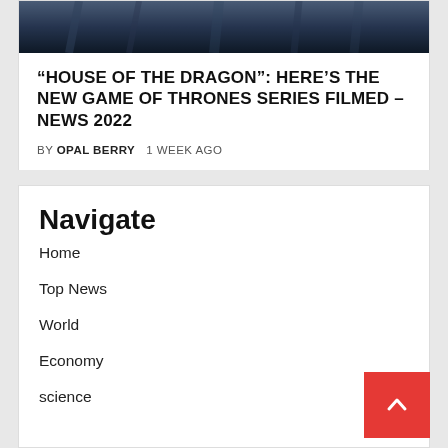[Figure (photo): Dark cinematic still from House of the Dragon / Game of Thrones series, showing figures in dark tones]
“HOUSE OF THE DRAGON”: HERE’S THE NEW GAME OF THRONES SERIES FILMED – NEWS 2022
BY OPAL BERRY   1 WEEK AGO
Navigate
Home
Top News
World
Economy
science